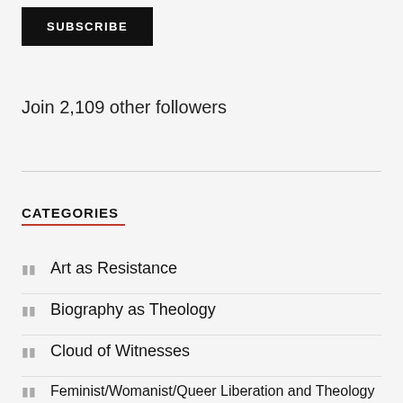[Figure (other): Black SUBSCRIBE button]
Join 2,109 other followers
CATEGORIES
Art as Resistance
Biography as Theology
Cloud of Witnesses
Feminist/Womanist/Queer Liberation and Theology